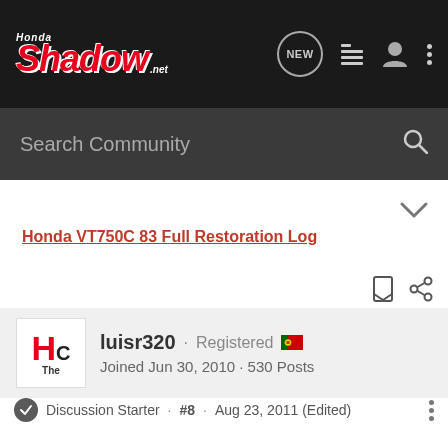Honda Shadow .net | Search Community
Honda VT750C 83 Full Restoration Log
luisr320 · Registered
Joined Jun 30, 2010 · 530 Posts
Discussion Starter · #8 · Aug 23, 2011 (Edited)
With the swing arm out I got access to the water tank.